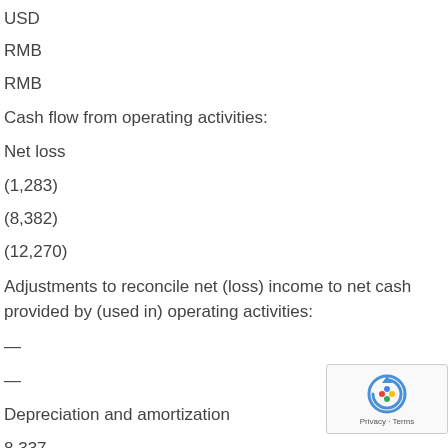USD
RMB
RMB
Cash flow from operating activities:
Net loss
(1,283)
(8,382)
(12,270)
Adjustments to reconcile net (loss) income to net cash provided by (used in) operating activities:
—
—
Depreciation and amortization
8,337